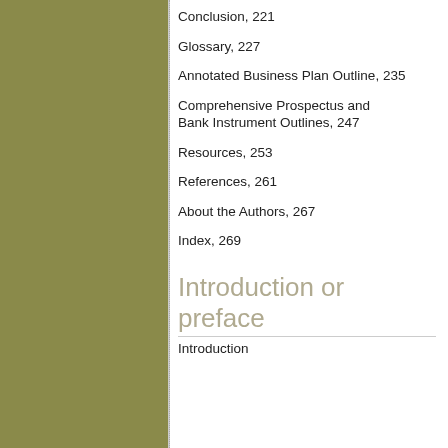Conclusion,  221
Glossary,  227
Annotated Business Plan Outline,  235
Comprehensive Prospectus and Bank Instrument Outlines,  247
Resources,  253
References,  261
About the Authors,  267
Index,  269
Introduction or preface
Introduction